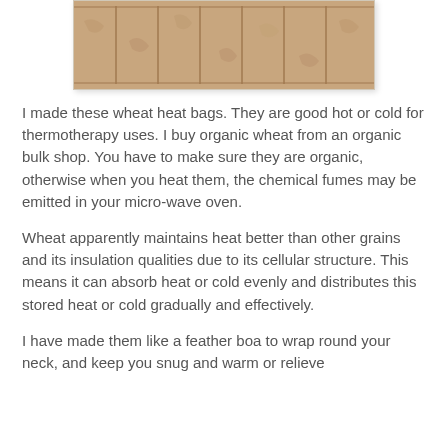[Figure (photo): Photo of wheat heat bags laid out flat, showing a sandy/tan colored fabric with stitched sections forming rectangular pockets, arranged side by side]
I made these wheat heat bags. They are good hot or cold for thermotherapy uses. I buy organic wheat from an organic bulk shop. You have to make sure they are organic, otherwise when you heat them, the chemical fumes may be emitted in your micro-wave oven.
Wheat apparently maintains heat better than other grains and its insulation qualities due to its cellular structure. This means it can absorb heat or cold evenly and distributes this stored heat or cold gradually and effectively.
I have made them like a feather boa to wrap round your neck, and keep you snug and warm or relieve